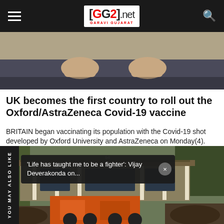GG2.net GARAVI GUJARAT
[Figure (photo): Close-up photo of a person's hands resting on their lap, wearing dark trousers]
UK becomes the first country to roll out the Oxford/AstraZeneca Covid-19 vaccine
BRITAIN began vaccinating its population with the Covid-19 shot developed by Oxford University and AstraZeneca on Monday(4).
[Figure (photo): Photo of a house being moved or lifted by heavy orange machinery, surrounded by excavated earth and debris]
YOU MAY ALSO LIKE
'Life has taught me to be a fighter': Vijay Deverakonda on...